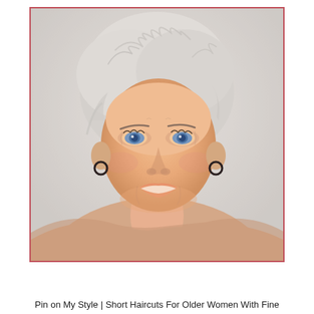[Figure (photo): Portrait photo of an older woman with short silvery-white hair styled in a textured pixie cut, blue eyes, wearing dark hoop earrings, smiling warmly against a white/light grey background. The photo is framed with a thin pink/red border.]
Pin on My Style | Short Haircuts For Older Women With Fine